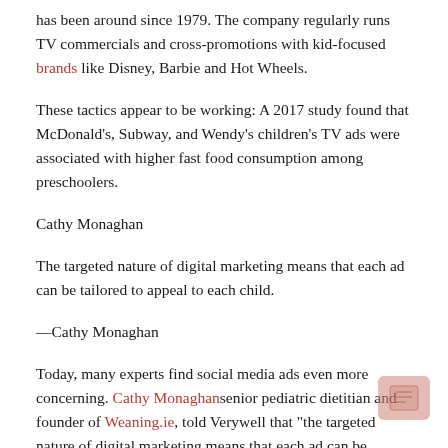has been around since 1979. The company regularly runs TV commercials and cross-promotions with kid-focused brands like Disney, Barbie and Hot Wheels.
These tactics appear to be working: A 2017 study found that McDonald's, Subway, and Wendy's children's TV ads were associated with higher fast food consumption among preschoolers.
Cathy Monaghan
The targeted nature of digital marketing means that each ad can be tailored to appeal to each child.
—Cathy Monaghan
Today, many experts find social media ads even more concerning. Cathy Monaghan senior pediatric dietitian and founder of Weaning.ie, told Verywell that "the targeted nature of digital marketing means that each ad can be tailored to appeal to each child based on their age, interests, emotions, location, etc. " In contrast, "toys in children's meals or television commercials are not targeted so specifically."